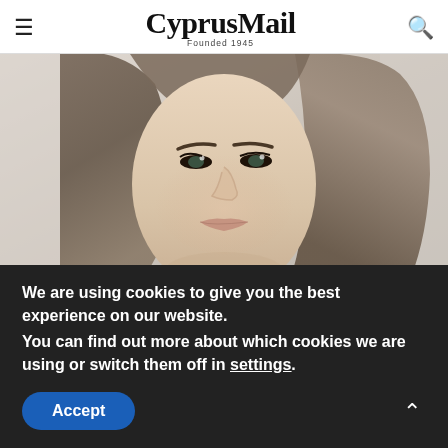CyprusMail Founded 1945
[Figure (photo): Close-up portrait of a young woman with long brown hair, light makeup, looking toward the camera. Background is blurred light gray/pink.]
Brainberries
Plus-Size Girls Who Set The Catwalk On Fire
We are using cookies to give you the best experience on our website.
You can find out more about which cookies we are using or switch them off in settings.